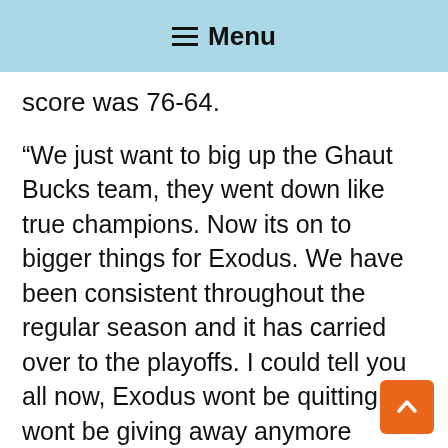☰ Menu
score was 76-64.
“We just want to big up the Ghaut Bucks team, they went down like true champions. Now its on to bigger things for Exodus. We have been consistent throughout the regular season and it has carried over to the playoffs. I could tell you all now, Exodus wont be quitting, we wont be giving away anymore games. They have to play their best. We have come to far not to win,” said Roger Gumbs of the Exodus coaching staff.